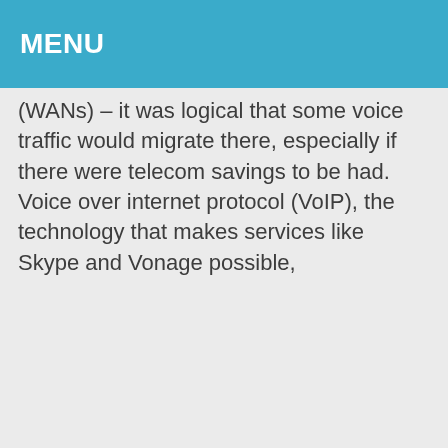MENU
(WANs) – it was logical that some voice traffic would migrate there, especially if there were telecom savings to be had. Voice over internet protocol (VoIP), the technology that makes services like Skype and Vonage possible,